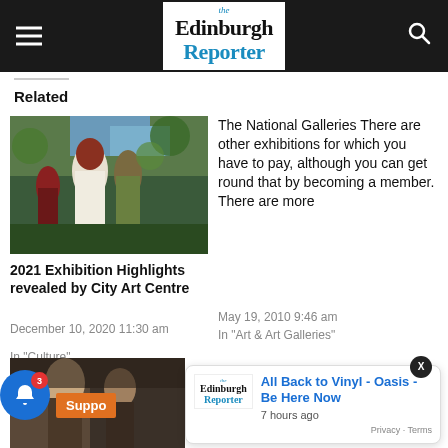The Edinburgh Reporter
Related
[Figure (photo): Painting of women in a garden, Pre-Raphaelite style]
2021 Exhibition Highlights revealed by City Art Centre
December 10, 2020 11:30 am
In "Culture"
The National Galleries There are other exhibitions for which you have to pay, although you can get round that by becoming a member. There are more
May 19, 2010 9:46 am
In "Art & Art Galleries"
[Figure (photo): Painting of figures in a dark interior]
All Back to Vinyl - Oasis - Be Here Now
7 hours ago